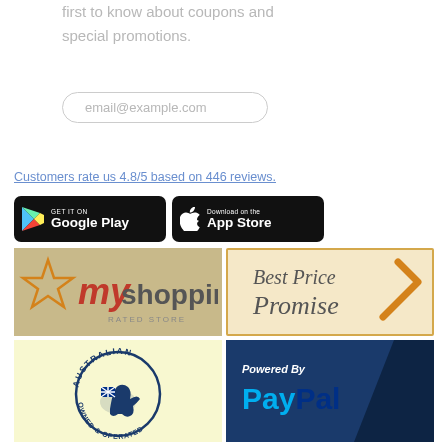first to know about coupons and special promotions.
email@example.com
Customers rate us 4.8/5 based on 446 reviews.
[Figure (logo): Get it on Google Play badge]
[Figure (logo): Download on the App Store badge]
[Figure (logo): Myshopping Rated Store badge]
[Figure (logo): Best Price Promise badge]
[Figure (logo): Australian Owned & Operated badge]
[Figure (logo): Powered By PayPal badge]